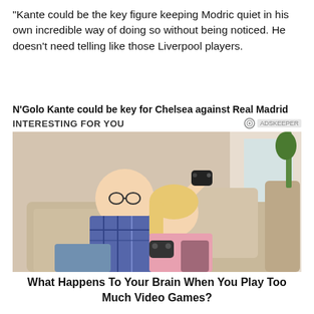“Kante could be the key figure keeping Modric quiet in his own incredible way of doing so without being noticed. He doesn’t need telling like those Liverpool players.
N’Golo Kante could be key for Chelsea against Real Madrid
INTERESTING FOR YOU
[Figure (photo): A man with glasses and a woman sitting on a couch playing video games with game controllers]
What Happens To Your Brain When You Play Too Much Video Games?